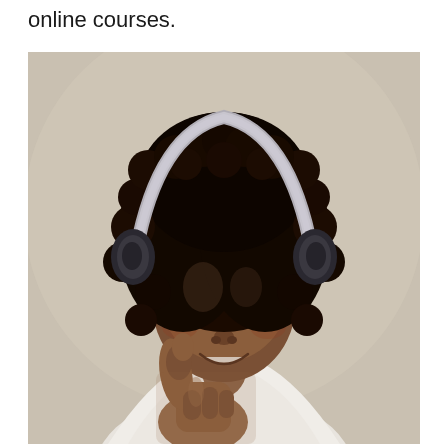online courses.
[Figure (photo): A young Black girl with natural curly hair wearing grey over-ear headphones, smiling and giving a thumbs up gesture. She is wearing a white top. The background is a soft light grey/beige.]